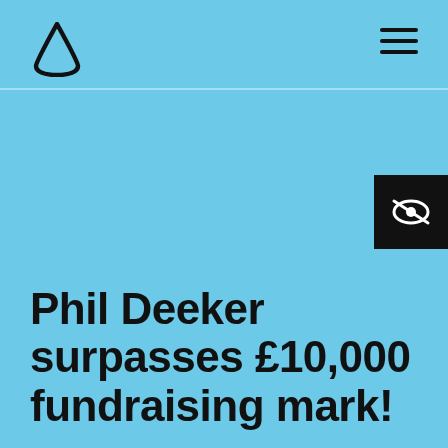[Figure (logo): Beacon/Mencap style teardrop-triangle logo mark in black on light blue background, top left of navigation bar]
[Figure (other): Hamburger menu icon (three horizontal black lines) in top right of navigation bar]
[Figure (other): Black accessibility button with white eye-with-line-through icon, positioned on the right side mid-page]
Phil Deeker surpasses £10,000 fundraising mark!